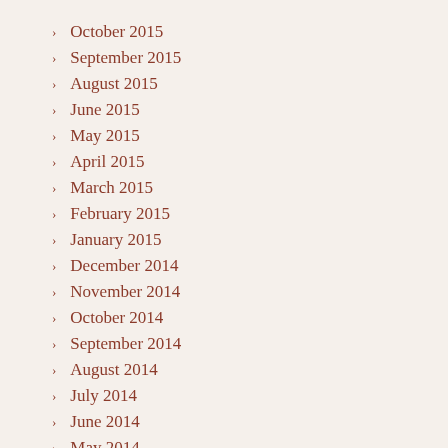October 2015
September 2015
August 2015
June 2015
May 2015
April 2015
March 2015
February 2015
January 2015
December 2014
November 2014
October 2014
September 2014
August 2014
July 2014
June 2014
May 2014
April 2014